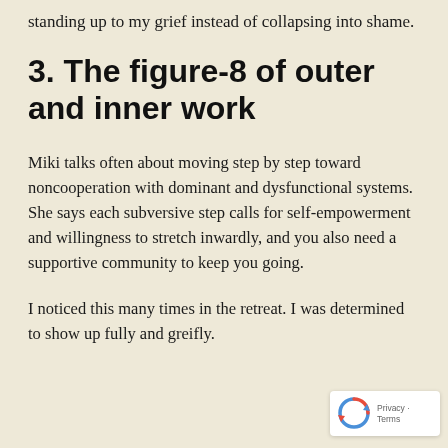standing up to my grief instead of collapsing into shame.
3. The figure-8 of outer and inner work
Miki talks often about moving step by step toward noncooperation with dominant and dysfunctional systems. She says each subversive step calls for self-empowerment and willingness to stretch inwardly, and you also need a supportive community to keep you going.
I noticed this many times in the retreat. I was determined to show up fully and greifly.